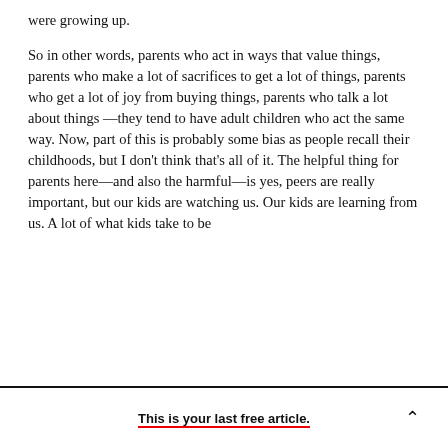were growing up.
So in other words, parents who act in ways that value things, parents who make a lot of sacrifices to get a lot of things, parents who get a lot of joy from buying things, parents who talk a lot about things —they tend to have adult children who act the same way. Now, part of this is probably some bias as people recall their childhoods, but I don't think that's all of it. The helpful thing for parents here—and also the harmful—is yes, peers are really important, but our kids are watching us. Our kids are learning from us. A lot of what kids take to be
This is your last free article.